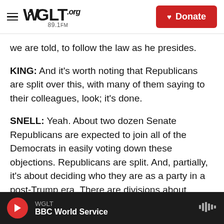WGLT.org 89.1FM — Donate
we are told, to follow the law as he presides.
KING: And it's worth noting that Republicans are split over this, with many of them saying to their colleagues, look; it's done.
SNELL: Yeah. About two dozen Senate Republicans are expected to join all of the Democrats in easily voting down these objections. Republicans are split. And, partially, it's about deciding who they are as a party in a post-Trump era. There are divisions about culture wars and policy fights and real deep concerns about extreme positions and conspiracy
WGLT — BBC World Service